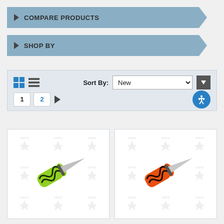COMPARE PRODUCTS
SHOP BY
Sort By: New
1  2  ▶
[Figure (photo): Green and black handled ESEE knife on watermarked background]
[Figure (photo): Orange and black handled ESEE knife on watermarked background]